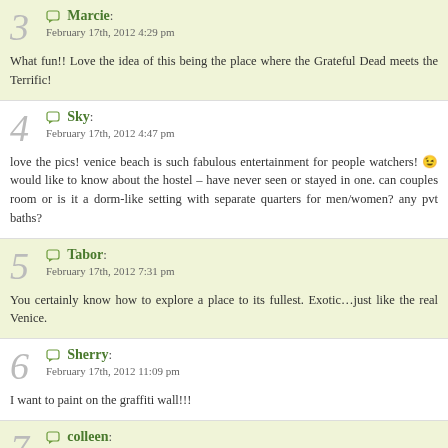3 Marcie: February 17th, 2012 4:29 pm
What fun!! Love the idea of this being the place where the Grateful Dead meets the... Terrific!
4 Sky: February 17th, 2012 4:47 pm
love the pics! venice beach is such fabulous entertainment for people watchers! o.d. would like to know about the hostel – have never seen or stayed in one. can couples get a room or is it a dorm-like setting with separate quarters for men/women? any pvt baths?
5 Tabor: February 17th, 2012 7:31 pm
You certainly know how to explore a place to its fullest. Exotic…just like the real Venice.
6 Sherry: February 17th, 2012 11:09 pm
I want to paint on the graffiti wall!!!
7 colleen: February 18th, 2012 12:51 pm
The best...